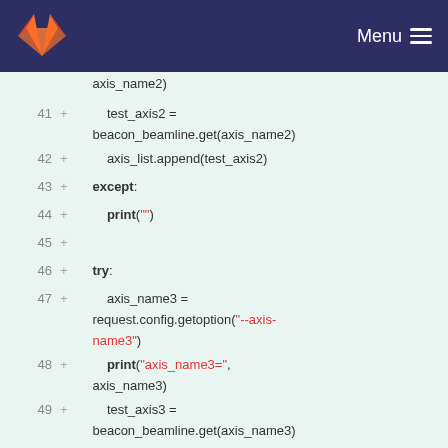[Figure (screenshot): GitLab navigation bar with logo and Menu button]
Code diff view showing Python code lines 41-54 with added lines (+) including: test_axis2 = beacon_beamline.get(axis_name2), axis_list.append(test_axis2), except:, print(""), try:, axis_name3 = request.config.getoption("--axis-name3"), print("axis_name3=", axis_name3), test_axis3 = beacon_beamline.get(axis_name3), axis_list.append(test_axis3), except:, print(""), if len(axis_list) > 0: